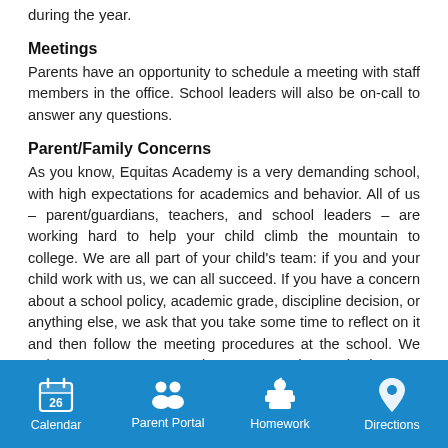during the year.
Meetings
Parents have an opportunity to schedule a meeting with staff members in the office. School leaders will also be on-call to answer any questions.
Parent/Family Concerns
As you know, Equitas Academy is a very demanding school, with high expectations for academics and behavior. All of us – parent/guardians, teachers, and school leaders – are working hard to help your child climb the mountain to college. We are all part of your child's team: if you and your child work with us, we can all succeed. If you have a concern about a school policy, academic grade, discipline decision, or anything else, we ask that you take some time to reflect on it and then follow the meeting procedures at the school. We welcome any conversation. We understand that as parents/guardians, you have very strong feelings about
Calendar | Parent Portal | Homework | Directions